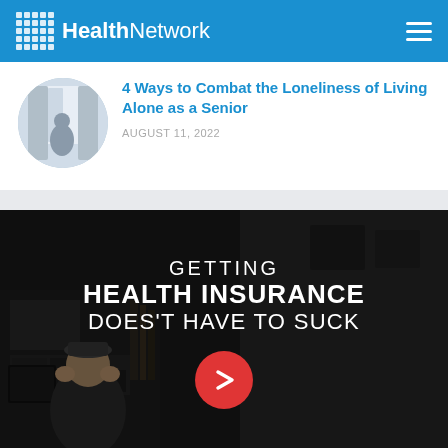HealthNetwork
[Figure (photo): Circular thumbnail of an elderly person sitting alone looking out a window]
4 Ways to Combat the Loneliness of Living Alone as a Senior
AUGUST 11, 2022
[Figure (photo): Dark video banner with two people in a room, overlaid with bold white uppercase text: GETTING HEALTH INSURANCE DOES'T HAVE TO SUCK, with a red circular play button]